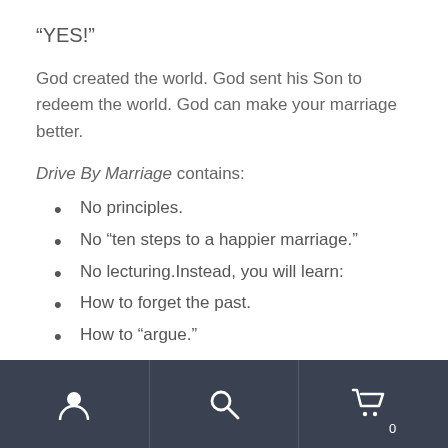“YES!”
God created the world. God sent his Son to redeem the world. God can make your marriage better.
Drive By Marriage contains:
No principles.
No “ten steps to a happier marriage.”
No lecturing.Instead, you will learn:
How to forget the past.
How to “argue.”
How to genuinely love one another.Join
user icon | search icon | cart icon 0